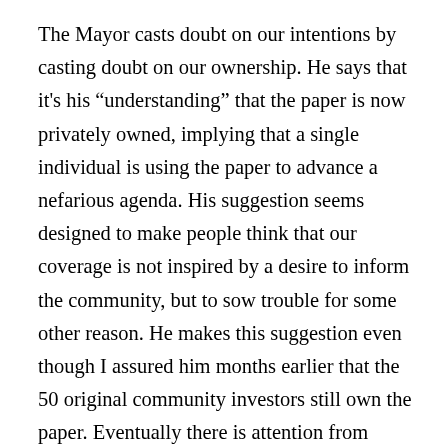The Mayor casts doubt on our intentions by casting doubt on our ownership. He says that it's his “understanding” that the paper is now privately owned, implying that a single individual is using the paper to advance a nefarious agenda. His suggestion seems designed to make people think that our coverage is not inspired by a desire to inform the community, but to sow trouble for some other reason. He makes this suggestion even though I assured him months earlier that the 50 original community investors still own the paper. Eventually there is attention from elsewhere: Canadian and U.S. journalism advocacy organizations lambaste the Town, and Jesse Brown mentions us on Canadaland. The Town reverses course on that allegation, but continues to ignore us, citing increasingly ludicrous justifications. In one instance, it claims that our two decades of membership in three media associations is insufficient proof of our legitimacy. They say we must join